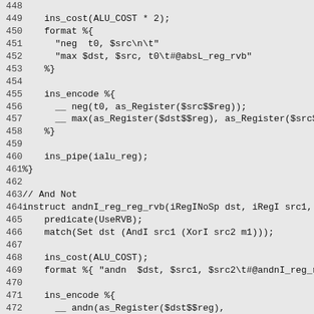Code listing lines 448-477, source file with instruction definitions for absL_reg_rvb and andnI_reg_reg_rvb instructions including ins_cost, format, ins_encode, ins_pipe directives.